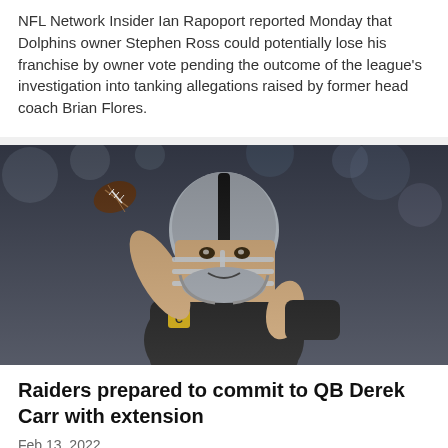NFL Network Insider Ian Rapoport reported Monday that Dolphins owner Stephen Ross could potentially lose his franchise by owner vote pending the outcome of the league's investigation into tanking allegations raised by former head coach Brian Flores.
[Figure (photo): A Las Vegas Raiders quarterback wearing a black helmet with silver stripe and black jersey with a yellow 'C' captain patch, in throwing stance holding a football overhead]
Raiders prepared to commit to QB Derek Carr with extension
Feb 13, 2022